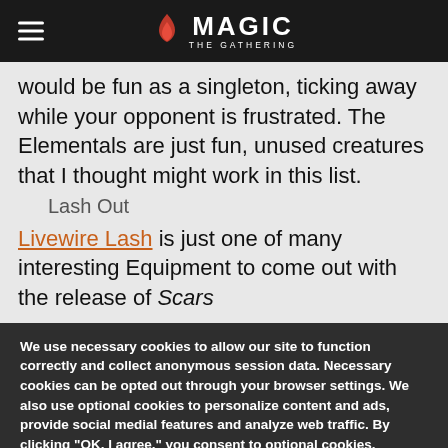Magic: The Gathering
would be fun as a singleton, ticking away while your opponent is frustrated. The Elementals are just fun, unused creatures that I thought might work in this list.
Lash Out
Livewire Lash is just one of many interesting Equipment to come out with the release of Scars
We use necessary cookies to allow our site to function correctly and collect anonymous session data. Necessary cookies can be opted out through your browser settings. We also use optional cookies to personalize content and ads, provide social medial features and analyze web traffic. By clicking “OK, I agree,” you consent to optional cookies. (Learn more about cookies.)
OK, I agree
No, thanks